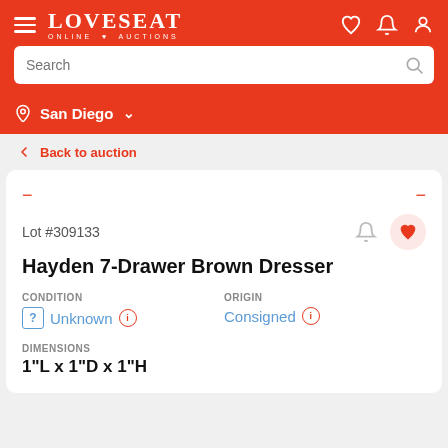LOVESEAT ONLINE AUCTIONS
Search
San Diego
← Back to auction
Lot #309133
Hayden 7-Drawer Brown Dresser
CONDITION
Unknown
ORIGIN
Consigned
DIMENSIONS
1"L x 1"D x 1"H